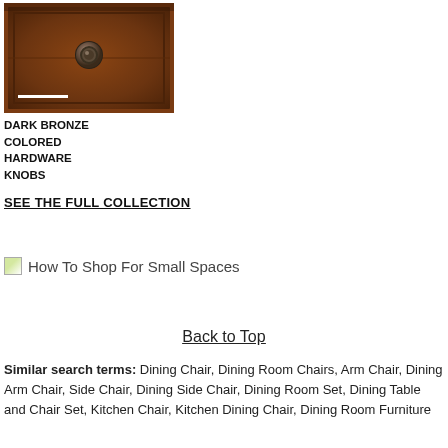[Figure (photo): Close-up photo of a dark cherry wood drawer with a dark bronze colored round hardware knob in the center, with a white measurement bar overlay at the bottom left.]
DARK BRONZE COLORED HARDWARE KNOBS
SEE THE FULL COLLECTION
[Figure (illustration): How To Shop For Small Spaces — banner image with broken image icon placeholder]
Back to Top
Similar search terms: Dining Chair, Dining Room Chairs, Arm Chair, Dining Arm Chair, Side Chair, Dining Side Chair, Dining Room Set, Dining Table and Chair Set, Kitchen Chair, Kitchen Dining Chair, Dining Room Furniture